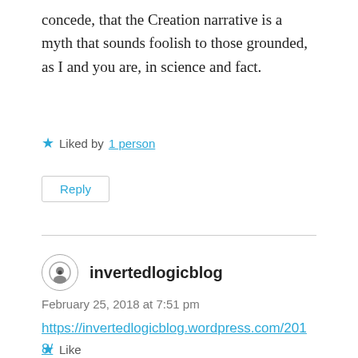concede, that the Creation narrative is a myth that sounds foolish to those grounded, as I and you are, in science and fact.
Liked by 1 person
Reply
invertedlogicblog
February 25, 2018 at 7:51 pm
https://invertedlogicblog.wordpress.com/2018/02/25/philosophical-rants11-dogmatism-in-atheism/
Like